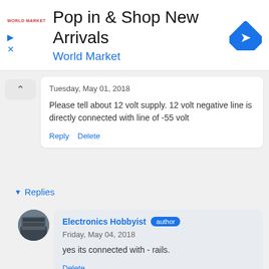[Figure (infographic): Advertisement banner for World Market: 'Pop in & Shop New Arrivals' with logo and navigation icon]
Tuesday, May 01, 2018
Please tell about 12 volt supply. 12 volt negative line is directly connected with line of -55 volt
Reply   Delete
▾ Replies
Electronics Hobbyist  author
Friday, May 04, 2018
yes its connected with - rails.
Delete